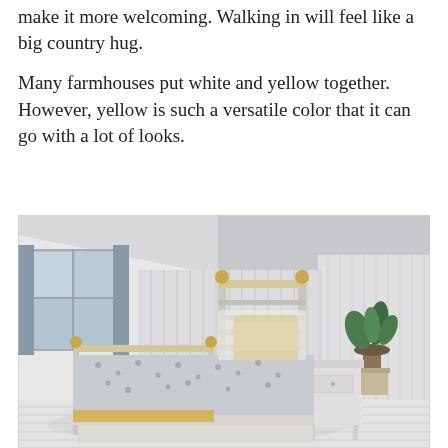make it more welcoming. Walking in will feel like a big country hug.
Many farmhouses put white and yellow together. However, yellow is such a versatile color that it can go with a lot of looks.
[Figure (photo): A farmhouse-style bedroom with a white beadboard wall, a brass metal bed frame with a yellow pillow and floral/patterned bedspread, white-painted plank floors, a small white nightstand, blue curtains, and a potted plant near a window.]